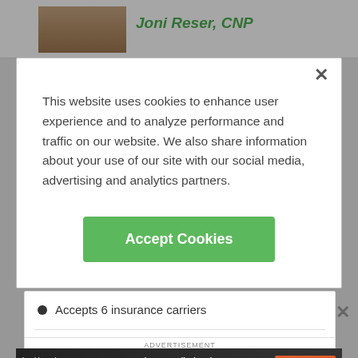Joni Reser, CNP
[Figure (screenshot): Cookie consent modal dialog with text about website cookie usage and an Accept Cookies button]
This website uses cookies to enhance user experience and to analyze performance and traffic on our website. We also share information about your use of our site with our social media, advertising and analytics partners.
Accept Cookies
Accepts 6 insurance carriers
This provider is on medical staff at Miami Valley Hospital South
ADVERTISEMENT
Dr. Mark Dobogie, MD
[Figure (photo): Healthgrades advertisement banner: 5-star doctors really do exist. Find Yours Today. Shows a female doctor with glasses.]